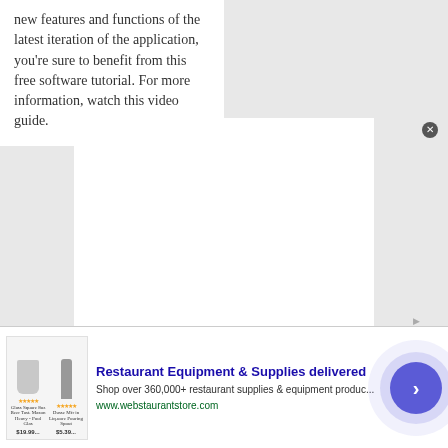new features and functions of the latest iteration of the application, you're sure to benefit from this free software tutorial. For more information, watch this video guide.
[Figure (other): White rectangle placeholder area, likely a video embed or image content area]
[Figure (other): Advertisement banner: Restaurant Equipment & Supplies delivered. Shop over 360,000+ restaurant supplies & equipment produc.... www.webstaurantstore.com. Contains product images of glasses and bottles with star ratings and prices.]